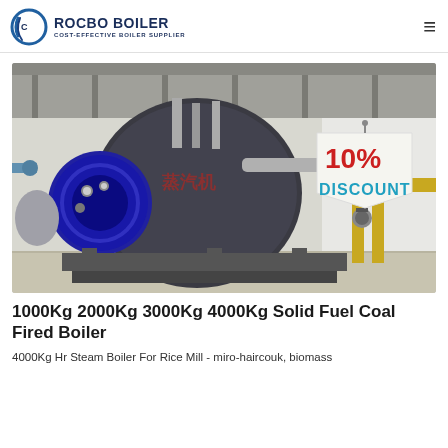ROCBO BOILER - COST-EFFECTIVE BOILER SUPPLIER
[Figure (photo): Industrial boiler installation in a factory — a large dark cylindrical boiler with blue burner assembly, yellow piping on the right, various valves and fittings. A '10% DISCOUNT' badge is overlaid on the upper right portion of the image.]
1000Kg 2000Kg 3000Kg 4000Kg Solid Fuel Coal Fired Boiler
4000Kg Hr Steam Boiler For Rice Mill - miro-haircouk, biomass